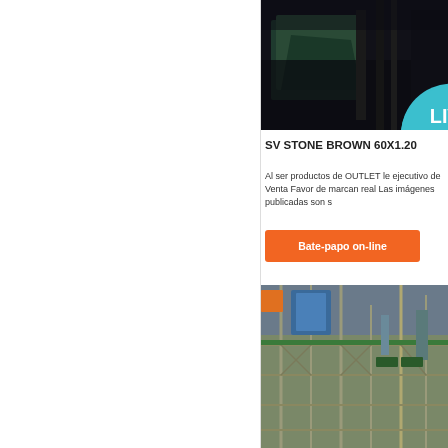[Figure (photo): Dark industrial/warehouse scene with covered green object, with LIVE CHAT speech bubble badge overlaid]
SV STONE BROWN 60X1.20
Al ser productos de OUTLET le ejecutivo de Venta Favor de marcan real Las imágenes publicadas son s
Bate-papo on-line
[Figure (photo): Aerial view of industrial facility with scaffolding, steel structures, pipes and cranes]